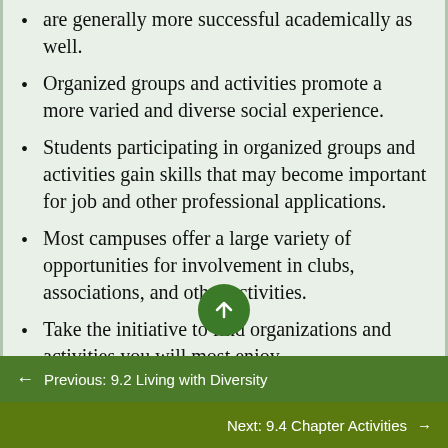are generally more successful academically as well.
Organized groups and activities promote a more varied and diverse social experience.
Students participating in organized groups and activities gain skills that may become important for job and other professional applications.
Most campuses offer a large variety of opportunities for involvement in clubs, associations, and other activities.
Take the initiative to find organizations and activities you will most enjoy.
← Previous: 9.2 Living with Diversity
Next: 9.4 Chapter Activities →